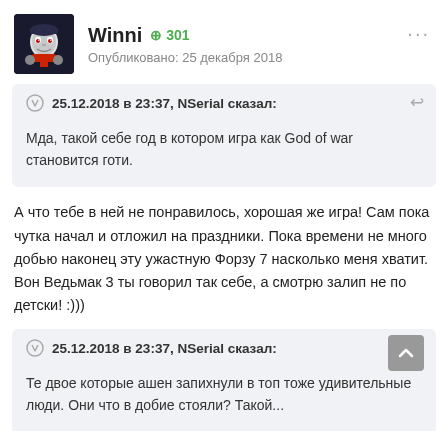Winni +301 Опубликовано: 25 декабря 2018
25.12.2018 в 23:37, NSerial сказал: Мда, такой себе год в котором игра как God of war становится готи.
А что тебе в ней не понравилось, хорошая же игра! Сам пока чутка начал и отложил на праздники. Пока времени не много добью наконец эту ужастную Форзу 7 насколько меня хватит. Вон Ведьмак 3 ты говорил так себе, а смотрю залип не по детски! :)))
25.12.2018 в 23:37, NSerial сказал: Те двое которые ашен запихнули в топ тоже удивительные люди. Они что в добие стояли? Такой...